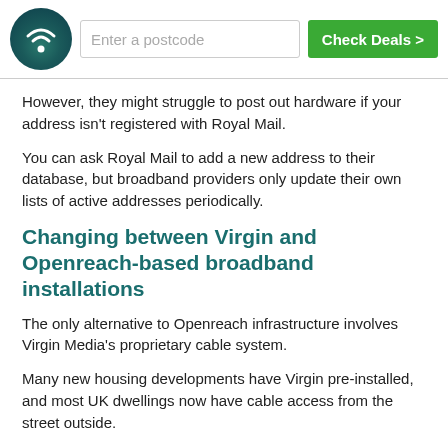[Figure (logo): Circular dark teal logo with white WiFi signal icon]
However, they might struggle to post out hardware if your address isn't registered with Royal Mail.
You can ask Royal Mail to add a new address to their database, but broadband providers only update their own lists of active addresses periodically.
Changing between Virgin and Openreach-based broadband installations
The only alternative to Openreach infrastructure involves Virgin Media's proprietary cable system.
Many new housing developments have Virgin pre-installed, and most UK dwellings now have cable access from the street outside.